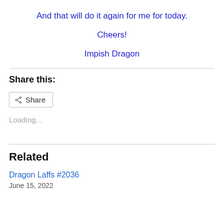And that will do it again for me for today.
Cheers!
Impish Dragon
Share this:
Share
Loading...
Related
Dragon Laffs #2036
June 15, 2022